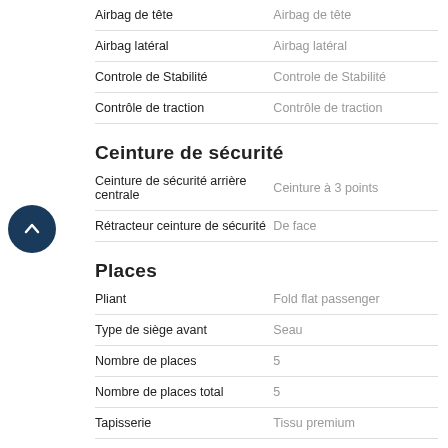| Feature | Value |
| --- | --- |
| Airbag de tête | Airbag de tête |
| Airbag latéral | Airbag latéral |
| Controle de Stabilité | Controle de Stabilité |
| Contrôle de traction | Contrôle de traction |
Ceinture de sécurité
| Feature | Value |
| --- | --- |
| Ceinture de sécurité arrière centrale | Ceinture à 3 points |
| Rétracteur ceinture de sécurité | De face |
Places
| Feature | Value |
| --- | --- |
| Pliant | Fold flat passenger |
| Type de siège avant | Seau |
| Nombre de places | 5 |
| Nombre de places total | 5 |
| Tapisserie | Tissu premium |
Sécurité
| Feature | Value |
| --- | --- |
| Anti-vol moteur | Anti-vol moteur |